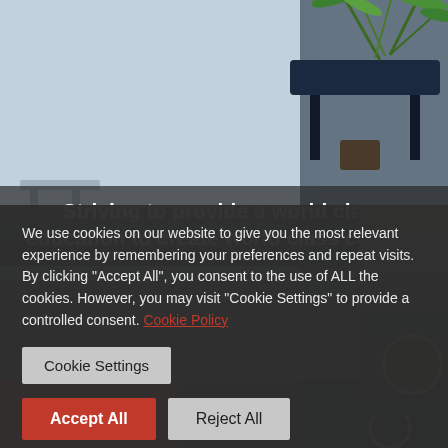[Figure (photo): Background hero photo showing a modern interior with a dark table and tropical plant on a light blue-grey background]
Striving to provide a world class education to create world class citizens
We use cookies on our website to give you the most relevant experience by remembering your preferences and repeat visits. By clicking “Accept All”, you consent to the use of ALL the cookies. However, you may visit “Cookie Settings” to provide a controlled consent. Cookie Policy
Cookie Settings
Accept All
Reject All
[Figure (photo): Partial photo at bottom showing students in red uniforms and a person in a dark green jacket with a gold emblem]